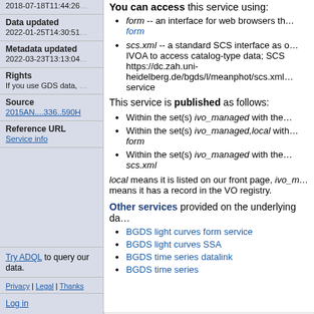2018-07-18T11:44:26
Data updated
2022-01-25T14:30:51
Metadata updated
2022-03-23T13:13:04
Rights
If you use GDS data,
Source
2015AN....336..590H
Reference URL
Service info
Try ADQL to query our data.
Privacy | Legal | Thanks
Log in
You can access this service using:
form -- an interface for web browsers th… form
scs.xml -- a standard SCS interface as IVOA to access catalog-type data; SCS https://dc.zah.uni-heidelberg.de/bgds/l/meanphot/scs.xml service
This service is published as follows:
Within the set(s) ivo_managed with the
Within the set(s) ivo_managed,local with form
Within the set(s) ivo_managed with the scs.xml
local means it is listed on our front page, ivo_m means it has a record in the VO registry.
Other services provided on the underlying da
BGDS light curves form service
BGDS light curves SSA
BGDS time series datalink
BGDS time series